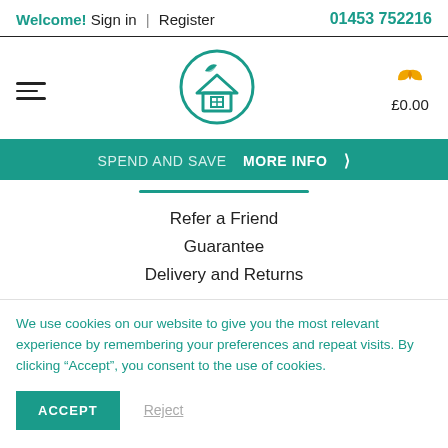Welcome! Sign in | Register  01453 752216
[Figure (logo): Hamburger menu icon (three horizontal lines)]
[Figure (logo): Circular house logo with leaf, teal outline]
[Figure (logo): Orange/yellow leaf icon with shopping cart showing £0.00]
SPEND AND SAVE  MORE INFO >
Refer a Friend
Guarantee
Delivery and Returns
We use cookies on our website to give you the most relevant experience by remembering your preferences and repeat visits. By clicking “Accept”, you consent to the use of cookies.
ACCEPT  Reject